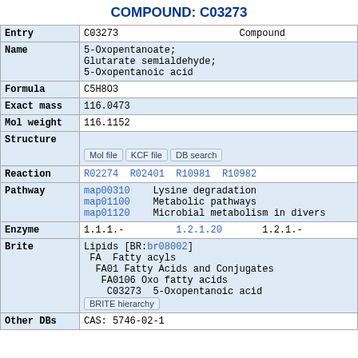COMPOUND: C03273
| Field | Value |
| --- | --- |
| Entry | C03273   Compound |
| Name | 5-Oxopentanoate;
Glutarate semialdehyde;
5-Oxopentanoic acid |
| Formula | C5H8O3 |
| Exact mass | 116.0473 |
| Mol weight | 116.1152 |
| Structure | [Mol file] [KCF file] [DB search] |
| Reaction | R02274 R02401 R10981 R10982 |
| Pathway | map00310   Lysine degradation
map01100   Metabolic pathways
map01120   Microbial metabolism in divers |
| Enzyme | 1.1.1.-   1.2.1.20   1.2.1.- |
| Brite | Lipids [BR:br08002]
 FA  Fatty acyls
  FA01 Fatty Acids and Conjugates
   FA0106 Oxo fatty acids
    C03273  5-Oxopentanoic acid
[BRITE hierarchy] |
| Other DBs | CAS: 5746-02-1 |